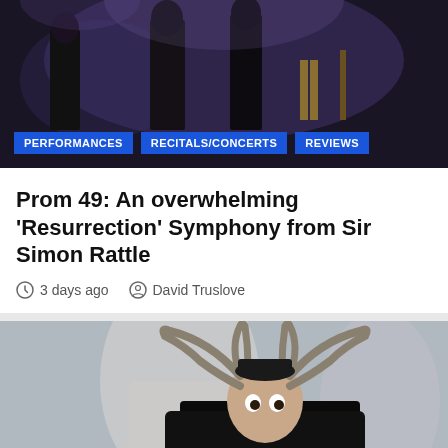[Figure (photo): Orchestra performance on stage with singers in formal attire, dark blue-purple lighting]
PERFORMANCES
RECITALS/CONCERTS
REVIEWS
Prom 49: An overwhelming ‘Resurrection’ Symphony from Sir Simon Rattle
3 days ago   David Truslove
[Figure (photo): Young male performer in costume with large antlers on head and dark fur coat, looking surprised]
PERFORMANCES
REVIEWS
STAGED OPERAS